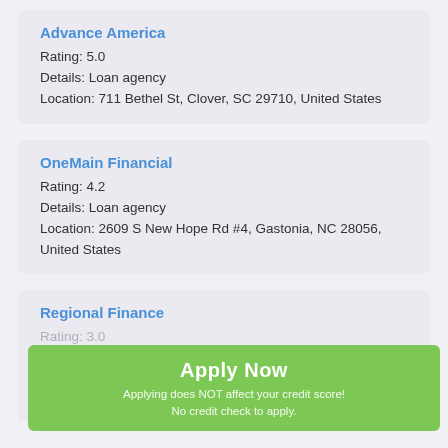Advance America
Rating: 5.0
Details: Loan agency
Location: 711 Bethel St, Clover, SC 29710, United States
OneMain Financial
Rating: 4.2
Details: Loan agency
Location: 2609 S New Hope Rd #4, Gastonia, NC 28056, United States
Regional Finance
Rating: 3.0
Details: Loan agency
Location: 1941 Hoffman Rd Suite 10, Charlotte, NC 28082, United States
Apply Now
Applying does NOT affect your credit score!
No credit check to apply.